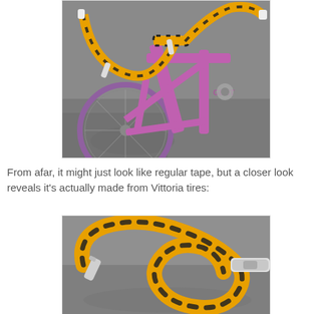[Figure (photo): Close-up photo of a pink/purple road bicycle with yellow and black striped handlebar tape wrapped around the handlebars and stem, resembling a tiger or bee pattern. The bike frame is partially visible with the word 'GENT' visible on it.]
From afar, it might just look like regular tape, but a closer look reveals it's actually made from Vittoria tires:
[Figure (photo): Close-up photo of bicycle drop handlebars wrapped with yellow and black striped tape made from Vittoria tires, showing the distinctive tiger/bee stripe pattern more clearly. Silver brake levers are visible.]